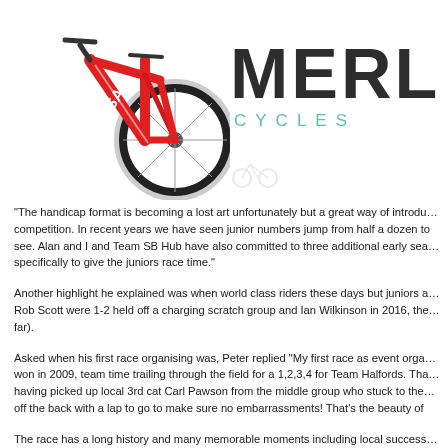[Figure (photo): Red road bicycle (ISA brand) photographed against white background, showing frame, handlebars, and wheel]
[Figure (logo): Merlin Cycles logo — MERL in large dark letters with CYCLES in teal/mint spaced letters below]
“The handicap format is becoming a lost art unfortunately but a great way of introdu… competition. In recent years we have seen junior numbers jump from half a dozen to see. Alan and I and Team SB Hub have also committed to three additional early sea… specifically to give the juniors race time.”
Another highlight he explained was when world class riders these days but juniors a… Rob Scott were 1-2 held off a charging scratch group and Ian Wilkinson in 2016, the… far).
Asked when his first race organising was, Peter replied “My first race as event orga… won in 2009, team time trailing through the field for a 1,2,3,4 for Team Halfords. Tha… having picked up local 3rd cat Carl Pawson from the middle group who stuck to the… off the back with a lap to go to make sure no embarrassments! That’s the beauty of
The race has a long history and many memorable moments including local success… riders of the day as Peter explained. “Going back to the 80s and pre handicap era i… Barnoldswick and was just as prestigious to win. Our very own Clayton rider Chris R… pro riders Steve Joughin and Phil Thomas on the receiving end of Chris’ attacking s…